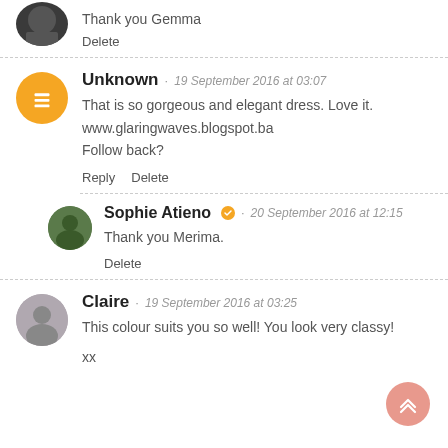Thank you Gemma
Delete
Unknown · 19 September 2016 at 03:07
That is so gorgeous and elegant dress. Love it.
www.glaringwaves.blogspot.ba
Follow back?
Reply   Delete
Sophie Atieno · 20 September 2016 at 12:15
Thank you Merima.
Delete
Claire · 19 September 2016 at 03:25
This colour suits you so well! You look very classy!
xx